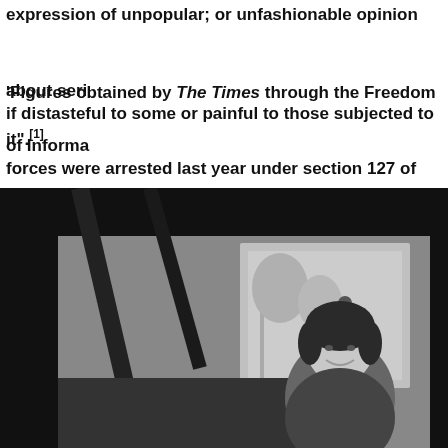expression of unpopular; or unfashionable opinion about serious matters, even if distasteful to some or painful to those subjected to it".[1]
'Figures obtained by The Times through the Freedom of Information Act show that forces were arrested last year under section 127 of the Communications Act 2003, which covers messages that intentionally "cause annoyance, inconvenience or needless anxiety". http://www.breitbart.com/london/2017/10/14/british-police-arrests-facebook-twitter-comments-one-year/.
[Figure (photo): Black and white photograph showing a woman with short dark hair smiling, seated near a grand piano in what appears to be an indoor venue with a window visible in the background.]